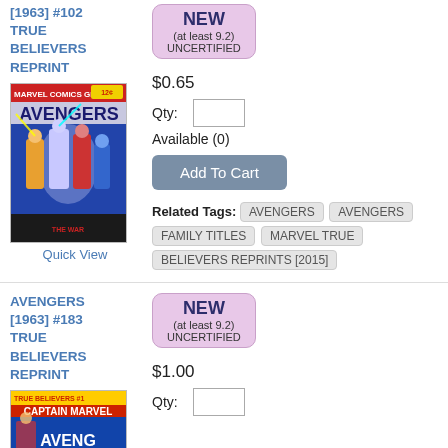[1963] #102 TRUE BELIEVERS REPRINT
[Figure (illustration): Avengers comic book cover showing superheroes in action]
Quick View
[Figure (other): NEW (at least 9.2) UNCERTIFIED badge]
$0.65
Qty:
Available (0)
Add To Cart
Related Tags: AVENGERS  AVENGERS FAMILY TITLES  MARVEL TRUE BELIEVERS REPRINTS [2015]
AVENGERS [1963] #183 TRUE BELIEVERS REPRINT
[Figure (illustration): True Believers Avengers comic book cover]
[Figure (other): NEW (at least 9.2) UNCERTIFIED badge]
$1.00
Qty: